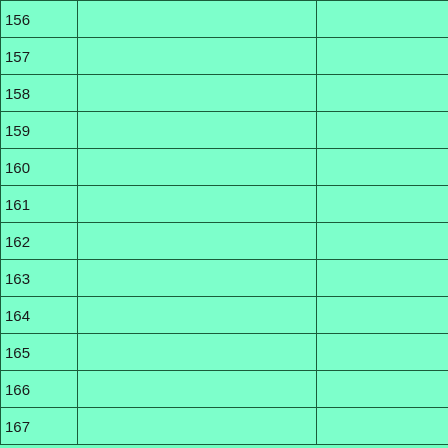|  |  |  |  |
| --- | --- | --- | --- |
| 156 |  |  | 22/04/2016 |
| 157 |  |  | 27/06/2016 |
| 158 |  |  | 08/07/2016 |
| 159 |  |  | 13/07/2016 |
| 160 |  |  | 06/08/2016 |
| 161 |  |  | 17/08/2016 |
| 162 |  |  | 25/08/2016 |
| 163 |  |  | 05/09/2016 |
| 164 |  |  | 01/10/2016 |
| 165 |  |  | 19/10/2016 |
| 166 |  |  | 25/10/2016 |
| 167 |  |  | 29/10/2016 |